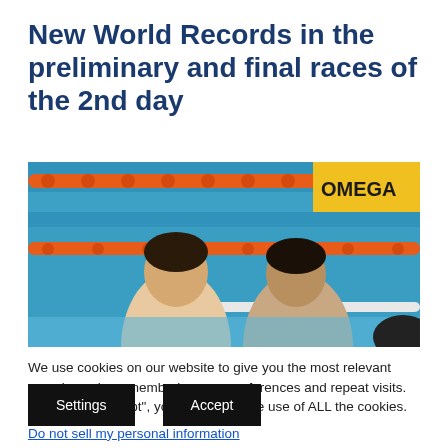New World Records in the preliminary and final races of the 2nd day
[Figure (photo): Two male swimmers in a swimming pool, leaning on the lane rope. An Omega timing board is visible in the background. The pool has orange lane dividers.]
We use cookies on our website to give you the most relevant experience by remembering your preferences and repeat visits. By clicking “Accept”, you consent to the use of ALL the cookies.
Do not sell my personal information.
Settings
Accept